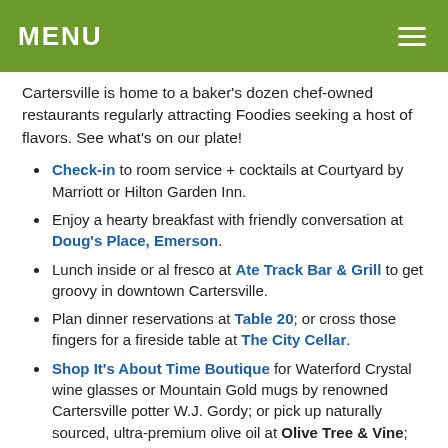MENU
Cartersville is home to a baker's dozen chef-owned restaurants regularly attracting Foodies seeking a host of flavors. See what's on our plate!
Check-in to room service + cocktails at Courtyard by Marriott or Hilton Garden Inn.
Enjoy a hearty breakfast with friendly conversation at Doug's Place, Emerson.
Lunch inside or al fresco at Ate Track Bar & Grill to get groovy in downtown Cartersville.
Plan dinner reservations at Table 20; or cross those fingers for a fireside table at The City Cellar.
Shop It's About Time Boutique for Waterford Crystal wine glasses or Mountain Gold mugs by renowned Cartersville potter W.J. Gordy; or pick up naturally sourced, ultra-premium olive oil at Olive Tree & Vine; and end with a yummy selection from JZs Taste of Georgia.
DAY TWO – Dine like a local with brunch at Moore's Gourmet Market. Stroll Downtown Cartersville's Art